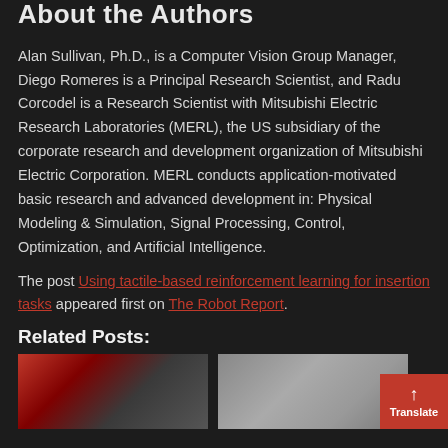About the Authors
Alan Sullivan, Ph.D., is a Computer Vision Group Manager, Diego Romeres is a Principal Research Scientist, and Radu Corcodel is a Research Scientist with Mitsubishi Electric Research Laboratories (MERL), the US subsidiary of the corporate research and development organization of Mitsubishi Electric Corporation. MERL conducts application-motivated basic research and advanced development in: Physical Modeling & Simulation, Signal Processing, Control, Optimization, and Artificial Intelligence.
The post Using tactile-based reinforcement learning for insertion tasks appeared first on The Robot Report.
Related Posts:
[Figure (photo): Photo of robotic arm working with red and dark equipment]
[Figure (photo): Photo of robotic arm in grey/white laboratory setting]